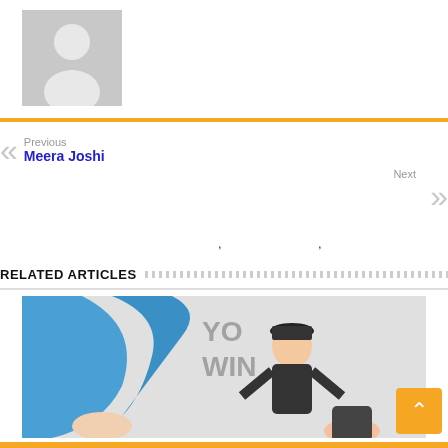[Figure (illustration): Default avatar placeholder image - grey silhouette of a person on grey background]
Previous
Meera Joshi
Next
RELATED ARTICLES
[Figure (photo): Photo of young men jumping or celebrating near a wall mural with text 'YOUR WINGS']